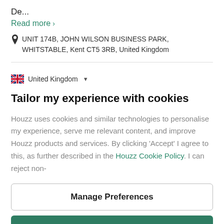De...
Read more >
UNIT 174B, JOHN WILSON BUSINESS PARK, WHITSTABLE, Kent CT5 3RB, United Kingdom
United Kingdom
Tailor my experience with cookies
Houzz uses cookies and similar technologies to personalise my experience, serve me relevant content, and improve Houzz products and services. By clicking ‘Accept’ I agree to this, as further described in the Houzz Cookie Policy. I can reject non-
Manage Preferences
Accept